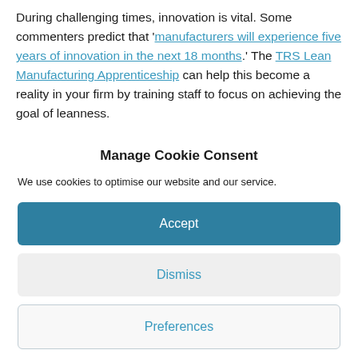During challenging times, innovation is vital. Some commenters predict that 'manufacturers will experience five years of innovation in the next 18 months.' The TRS Lean Manufacturing Apprenticeship can help this become a reality in your firm by training staff to focus on achieving the goal of leanness.
Manage Cookie Consent
We use cookies to optimise our website and our service.
Accept
Dismiss
Preferences